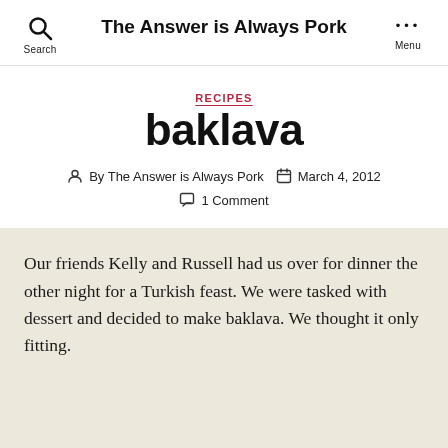The Answer is Always Pork
RECIPES
baklava
By The Answer is Always Pork   March 4, 2012
1 Comment
Our friends Kelly and Russell had us over for dinner the other night for a Turkish feast. We were tasked with dessert and decided to make baklava. We thought it only fitting.